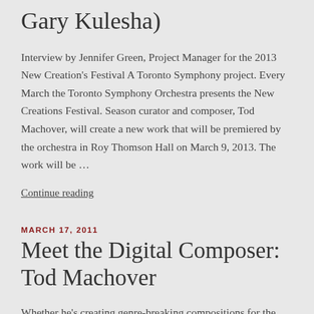Gary Kulesha)
Interview by Jennifer Green, Project Manager for the 2013 New Creation's Festival A Toronto Symphony project. Every March the Toronto Symphony Orchestra presents the New Creations Festival. Season curator and composer, Tod Machover, will create a new work that will be premiered by the orchestra in Roy Thomson Hall on March 9, 2013. The work will be …
Continue reading
MARCH 17, 2011
Meet the Digital Composer: Tod Machover
Whether he's creating genre-breaking compositions for the concert hall, "robotic" operas for worldwide stages,